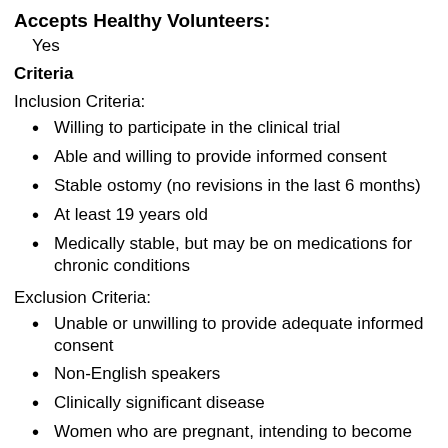Accepts Healthy Volunteers:
Yes
Criteria
Inclusion Criteria:
Willing to participate in the clinical trial
Able and willing to provide informed consent
Stable ostomy (no revisions in the last 6 months)
At least 19 years old
Medically stable, but may be on medications for chronic conditions
Exclusion Criteria:
Unable or unwilling to provide adequate informed consent
Non-English speakers
Clinically significant disease
Women who are pregnant, intending to become pregnant, or